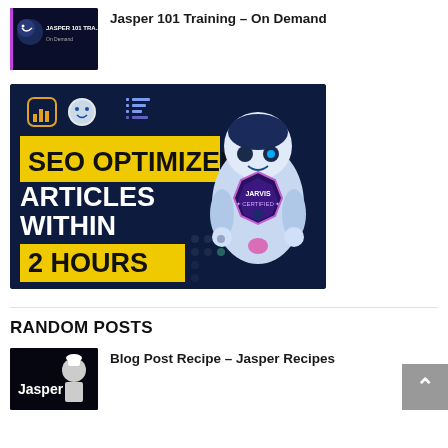Jasper 101 Training – On Demand
[Figure (screenshot): Dark thumbnail showing Jasper 101 Training On Demand banner with Jasper AI logo]
[Figure (illustration): Dark navy banner ad: SEO OPTIMIZED ARTICLES WITHIN 2 HOURS with AI robot and Jarvis Certified badge, icons for survey/jasper/list tools at top]
RANDOM POSTS
[Figure (screenshot): Thumbnail showing Jasper blog post recipe with a chef figure on dark background]
Blog Post Recipe – Jasper Recipes